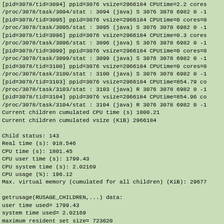[pid=3078/tid=3094] ppid=3076 vsize=2966184 CPUtime=2.2 cores
/proc/3078/task/3094/stat : 3094 (java) S 3076 3078 6982 0 -1
[pid=3078/tid=3095] ppid=3076 vsize=2966184 CPUtime=0 cores=0
/proc/3078/task/3095/stat : 3095 (java) S 3076 3078 6982 0 -1
[pid=3078/tid=3096] ppid=3076 vsize=2966184 CPUtime=0.3 cores
/proc/3078/task/3096/stat : 3096 (java) S 3076 3078 6982 0 -1
[pid=3078/tid=3099] ppid=3076 vsize=2966184 CPUtime=0 cores=0
/proc/3078/task/3099/stat : 3099 (java) S 3076 3078 6982 0 -1
[pid=3078/tid=3100] ppid=3076 vsize=2966184 CPUtime=0 cores=0
/proc/3078/task/3100/stat : 3100 (java) S 3076 3078 6982 0 -1
[pid=3078/tid=3103] ppid=3076 vsize=2966184 CPUtime=854.79 co
/proc/3078/task/3103/stat : 3103 (java) R 3076 3078 6982 0 -1
[pid=3078/tid=3104] ppid=3076 vsize=2966184 CPUtime=854.96 co
/proc/3078/task/3104/stat : 3104 (java) R 3076 3078 6982 0 -1
Current children cumulated CPU time (s) 1800.21
Current children cumulated vsize (KiB) 2966184

Child status: 143
Real time (s): 918.546
CPU time (s): 1801.45
CPU user time (s): 1799.43
CPU system time (s): 2.02169
CPU usage (%): 196.12
Max. virtual memory (cumulated for all children) (KiB): 29677

getrusage(RUSAGE_CHILDREN,...) data:
user time used= 1799.43
system time used= 2.02169
maximum resident set size= 723620
integral shared memory size= 0
integral unshared data size= 0
integral unshared stack size= 0